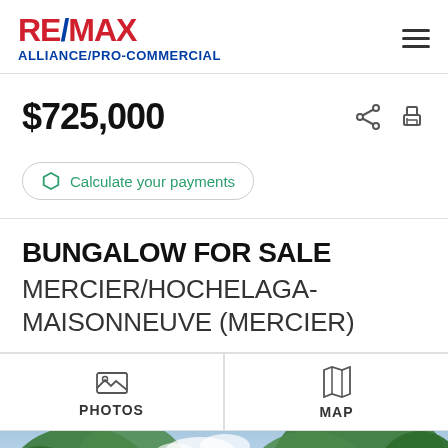RE/MAX ALLIANCE/PRO-COMMERCIAL
$725,000
Calculate your payments
BUNGALOW FOR SALE MERCIER/HOCHELAGA-MAISONNEUVE (MERCIER)
PHOTOS
MAP
[Figure (photo): Exterior photo of a house with trees and blue sky visible at the bottom of the page]